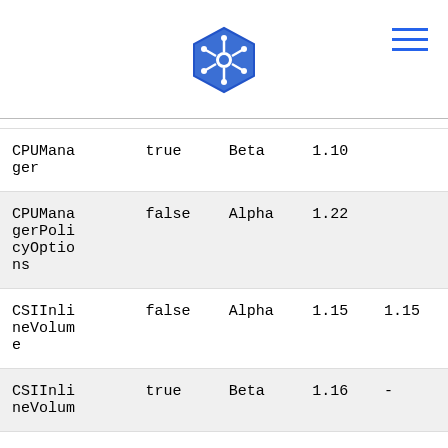Kubernetes logo header with navigation menu
| Feature | Default | Stage | Since | Until |
| --- | --- | --- | --- | --- |
| CPUManager | true | Beta | 1.10 |  |
| CPUManagerPolicyOptions | false | Alpha | 1.22 |  |
| CSIInlineVolume | false | Alpha | 1.15 | 1.15 |
| CSIInlineVolume | true | Beta | 1.16 | - |